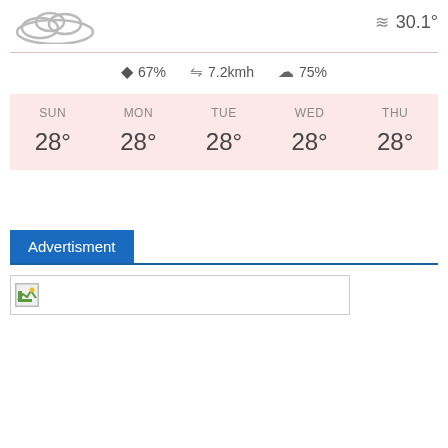[Figure (illustration): Cloud icon in top left]
≈ 30.1°
💧 67%   ⇒ 7.2kmh   ☁ 75%
| SUN | MON | TUE | WED | THU |
| --- | --- | --- | --- | --- |
| 28° | 28° | 28° | 28° | 28° |
Advertisment
[Figure (illustration): Broken image placeholder in advertisement area]